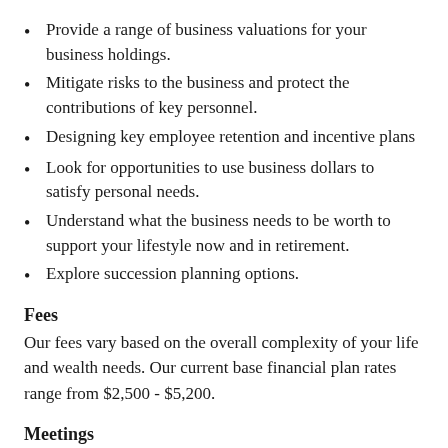Provide a range of business valuations for your business holdings.
Mitigate risks to the business and protect the contributions of key personnel.
Designing key employee retention and incentive plans
Look for opportunities to use business dollars to satisfy personal needs.
Understand what the business needs to be worth to support your lifestyle now and in retirement.
Explore succession planning options.
Fees
Our fees vary based on the overall complexity of your life and wealth needs. Our current base financial plan rates range from $2,500 - $5,200.
Meetings
Meeting generally occur in our office, on the phone, and